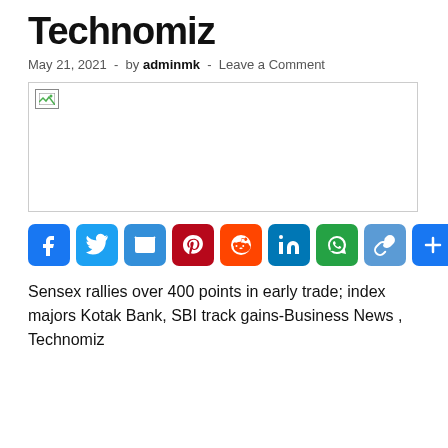Technomiz
May 21, 2021  -  by adminmk  -  Leave a Comment
[Figure (photo): Broken/unloaded image placeholder]
[Figure (infographic): Social media share buttons: Facebook, Twitter, Email, Pinterest, Reddit, LinkedIn, WhatsApp, Copy Link, More]
Sensex rallies over 400 points in early trade; index majors Kotak Bank, SBI track gains-Business News , Technomiz